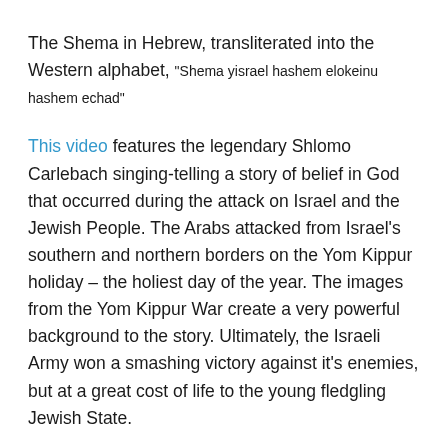The Shema in Hebrew, transliterated into the Western alphabet, "Shema yisrael hashem elokeinu hashem echad"
This video features the legendary Shlomo Carlebach singing-telling a story of belief in God that occurred during the attack on Israel and the Jewish People. The Arabs attacked from Israel's southern and northern borders on the Yom Kippur holiday – the holiest day of the year. The images from the Yom Kippur War create a very powerful background to the story. Ultimately, the Israeli Army won a smashing victory against it's enemies, but at a great cost of life to the young fledgling Jewish State.
And in this video, Charlie Harary expounds on the